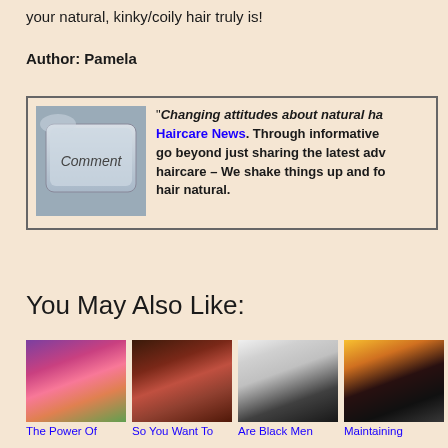your natural, kinky/coily hair truly is!
Author: Pamela
[Figure (photo): A keyboard key labeled 'Comment' alongside a quote about changing attitudes about natural hair and Haircare News.]
You May Also Like:
[Figure (photo): The Power Of - thumbnail image of a woman with colorful natural hair]
[Figure (photo): So You Want To - thumbnail image of a woman with natural curly hair]
[Figure (photo): Are Black Men - thumbnail image of a Black man in a suit]
[Figure (photo): Maintaining - thumbnail image of a woman with large natural afro and flowers]